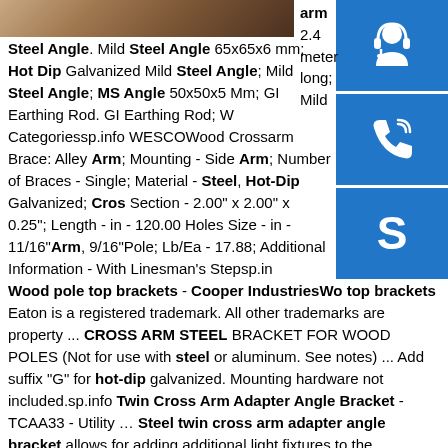[Figure (photo): Photo strip at top showing wooden cross arm or steel bracket material]
arm 2.4 meter long; Mild Steel Angle. Mild Steel Angle 65x65x6 mm; Hot Dip Galvanized Mild Steel Angle; Mild Steel Angle; MS Angle 50x50x5 Mm; GI Earthing Rod. GI Earthing Rod; V Categoriessp.info WESCOWood Crossarm Brace: Alley Arm; Mounting - Side Arm; Number of Braces - Single; Material - Steel, Hot-Dip Galvanized; Cross Section - 2.00" x 2.00" x 0.25"; Length - in - 120.00 Holes Size - in - 11/16"Arm, 9/16"Pole; Lb/Ea - 17.88; Additional Information - With Linesman's Stepsp.info Wood pole top brackets - Cooper IndustriesWood pole top brackets Eaton is a registered trademark. All other trademarks are property ... CROSS ARM STEEL BRACKET FOR WOOD POLES (Not for use with steel or aluminum. See notes) ... Add suffix "G" for hot-dip galvanized. Mounting hardware not included.sp.info Twin Cross Arm Adapter Angle Bracket - TCAA33 - Utility ... Steel twin cross arm adapter angle bracket allows for adding additional light fixtures to the P200S06T Cross
[Figure (infographic): Blue sidebar with three icons: headset/customer support icon, phone/call icon, and Skype icon]